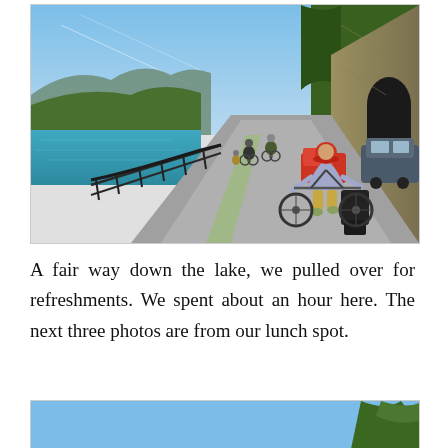[Figure (photo): Cyclists riding along a lakeside road with a metal railing, turquoise lake and mountains in the background, and a rocky cliff with a tunnel on the right. The nearest cyclist wears a red helmet and a lavender shirt with panniers on the bike.]
A fair way down the lake, we pulled over for refreshments. We spent about an hour here. The next three photos are from our lunch spot.
[Figure (photo): Partial view of a second photo showing a bright blue sky with green trees at the right edge, cropped at the bottom of the page.]